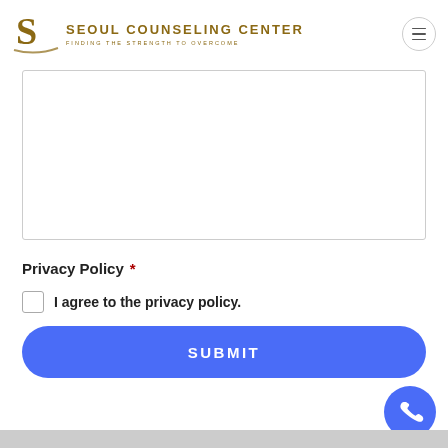SEOUL COUNSELING CENTER — FINDING THE STRENGTH TO OVERCOME
[Figure (screenshot): Text area input box, empty, with light gray border]
Privacy Policy *
I agree to the privacy policy.
SUBMIT
[Figure (illustration): Blue circular phone/call button in bottom right corner]